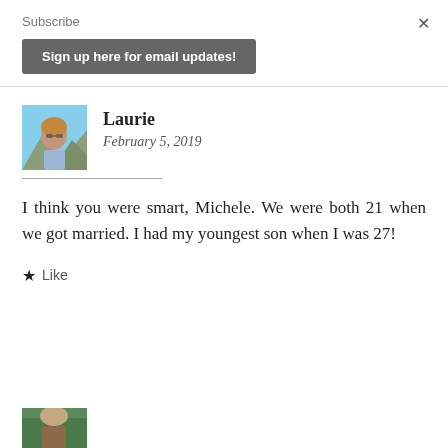Subscribe
Sign up here for email updates!
×
Laurie
February 5, 2019
[Figure (photo): Profile photo of Laurie, a woman with short hair and sunglasses outdoors with mountains in background]
I think you were smart, Michele. We were both 21 when we got married. I had my youngest son when I was 27!
★ Like
[Figure (photo): Partial profile photo at bottom of page, cropped, showing outdoor scene]